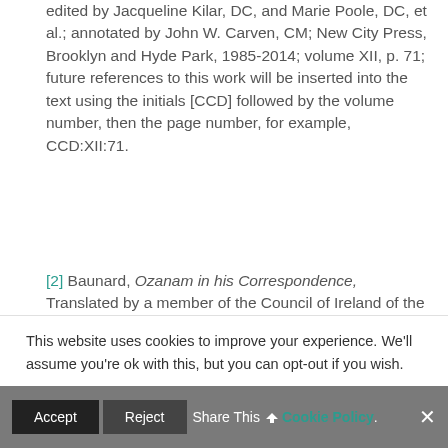edited by Jacqueline Kilar, DC, and Marie Poole, DC, et al.; annotated by John W. Carven, CM; New City Press, Brooklyn and Hyde Park, 1985-2014; volume XII, p. 71; future references to this work will be inserted into the text using the initials [CCD] followed by the volume number, then the page number, for example, CCD:XII:71.
[2] Baunard, Ozanam in his Correspondence, Translated by a member of the Council of Ireland of the Society of
This website uses cookies to improve your experience. We'll assume you're ok with this, but you can opt-out if you wish.
Accept  Reject  Share This  Cookie Policy  ×